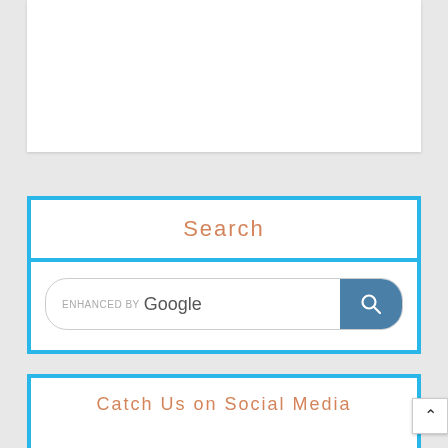[Figure (other): White content box area at top of page, empty/blank white rectangle]
Search
[Figure (screenshot): Enhanced by Google search bar with blue search button containing magnifying glass icon]
Catch Us on Social Media